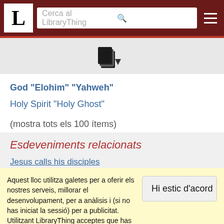LibraryThing – Cerca al LibraryThing
[Figure (logo): Book/document stacking icon]
God "Elohim" "Yahweh"
Holy Spirit "Holy Ghost"
(mostra tots els 100 ítems)
Esdeveniments relacionats
Jesus calls his disciples
Aquest lloc utilitza galetes per a oferir els nostres serveis, millorar el desenvolupament, per a anàlisis i (si no has iniciat la sessió) per a publicitat. Utilitzant LibraryThing acceptes que has llegit i entès els nostres Termes de servei i política de privacitat. L'ús que facis del lloc i dels seus serveis està subjecte a aquestes polítiques i termes.